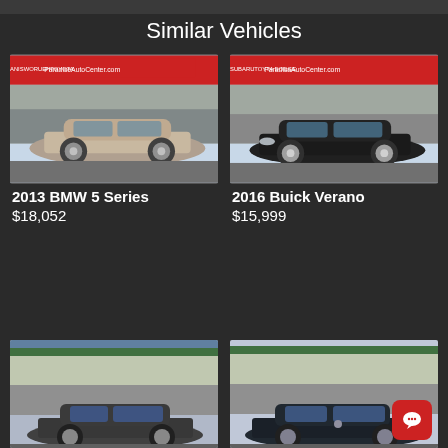Similar Vehicles
[Figure (photo): 2013 BMW 5 Series at Paradise Auto Center dealership lot]
2013 BMW 5 Series
$18,052
[Figure (photo): 2016 Buick Verano at Paradise Auto Center dealership lot]
2016 Buick Verano
$15,999
[Figure (photo): Ford Mustang at dealership lot]
[Figure (photo): Volkswagen Passat at dealership lot with chat button overlay]